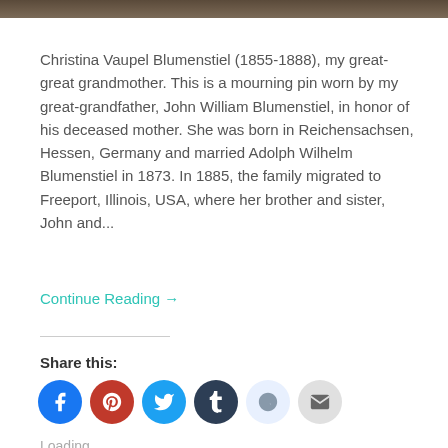[Figure (photo): Dark textured banner/header image at the top of the page]
Christina Vaupel Blumenstiel (1855-1888), my great-great grandmother. This is a mourning pin worn by my great-grandfather, John William Blumenstiel, in honor of his deceased mother. She was born in Reichensachsen, Hessen, Germany and married Adolph Wilhelm Blumenstiel in 1873. In 1885, the family migrated to Freeport, Illinois, USA, where her brother and sister, John and...
Continue Reading →
Share this:
[Figure (infographic): Row of circular social media share icons: Facebook (blue), Pinterest (red), Twitter (light blue), Tumblr (dark navy), Reddit (light blue/white), Email (grey)]
Loading...